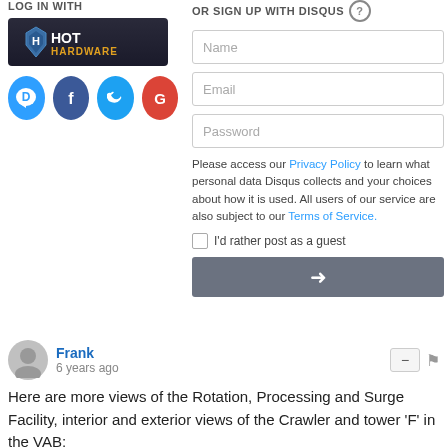LOG IN WITH
[Figure (logo): HotHardware login button - dark background with HotHardware logo text]
[Figure (infographic): Four social login icons: Disqus (blue speech bubble with D), Facebook (dark blue circle with f), Twitter (light blue circle with bird), Google (red circle with G)]
OR SIGN UP WITH DISQUS
Name
Email
Password
Please access our Privacy Policy to learn what personal data Disqus collects and your choices about how it is used. All users of our service are also subject to our Terms of Service.
I'd rather post as a guest
Frank
6 years ago
Here are more views of the Rotation, Processing and Surge Facility, interior and exterior views of the Crawler and tower 'F' in the VAB: